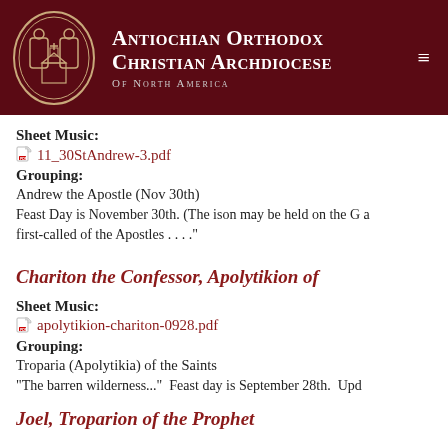[Figure (logo): Antiochian Orthodox Christian Archdiocese of North America header with logo and navigation]
Sheet Music:
11_30StAndrew-3.pdf
Grouping:
Andrew the Apostle (Nov 30th)
Feast Day is November 30th. (The ison may be held on the G a first-called of the Apostles . . . ."
Chariton the Confessor, Apolytikion of
Sheet Music:
apolytikion-chariton-0928.pdf
Grouping:
Troparia (Apolytikia) of the Saints
"The barren wilderness..."  Feast day is September 28th.  Upd
Joel, Troparion of the Prophet